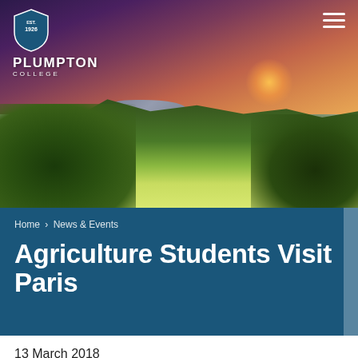[Figure (photo): Aerial landscape photo of rolling green hills and fields at sunset/dusk with dramatic sky, trees in foreground, hills in background, lake visible in middle distance. Plumpton College logo and navigation hamburger menu overlay the top of the image.]
Home > News & Events
Agriculture Students Visit Paris
13 March 2018